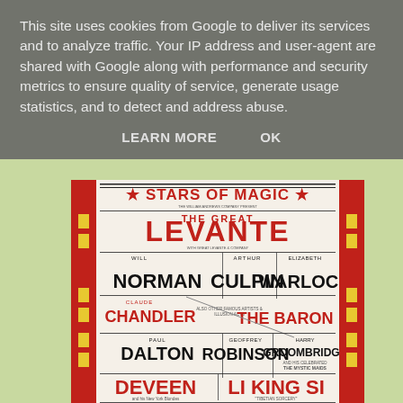This site uses cookies from Google to deliver its services and to analyze traffic. Your IP address and user-agent are shared with Google along with performance and security metrics to ensure quality of service, generate usage statistics, and to detect and address abuse.
LEARN MORE    OK
[Figure (photo): A vintage magic show poster 'Stars of Magic' featuring The Great Levante, and performers Will Norman, Arthur Culpin, Elizabeth Warlock, Claude Chandler, The Baron, Paul Dalton, Geoffrey Robinson, Harry Groombridge and The Mystic Maids, Deveen, Li King Si 'Tibetian Sorcery'. The poster is framed by a red and yellow-striped border on a light green background.]